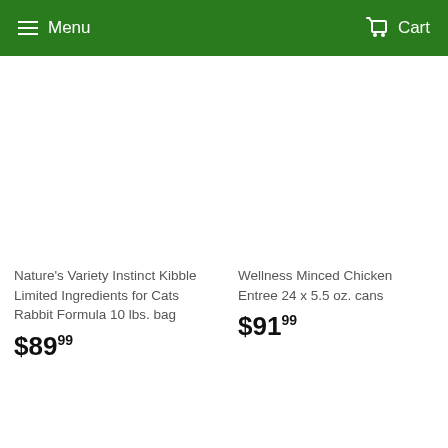Menu  Cart
Nature's Variety Instinct Kibble Limited Ingredients for Cats Rabbit Formula 10 lbs. bag
$89.99
Wellness Minced Chicken Entree 24 x 5.5 oz. cans
$91.99